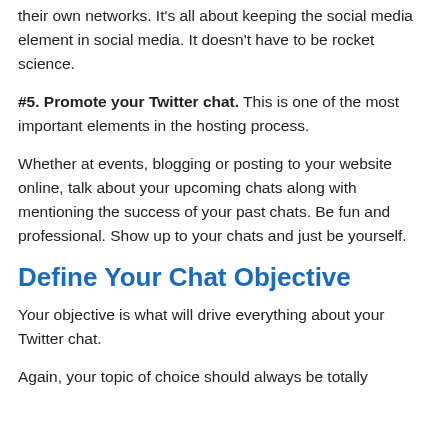their own networks. It’s all about keeping the social media element in social media. It doesn’t have to be rocket science.
#5. Promote your Twitter chat. This is one of the most important elements in the hosting process.
Whether at events, blogging or posting to your website online, talk about your upcoming chats along with mentioning the success of your past chats. Be fun and professional. Show up to your chats and just be yourself.
Define Your Chat Objective
Your objective is what will drive everything about your Twitter chat.
Again, your topic of choice should always be totally